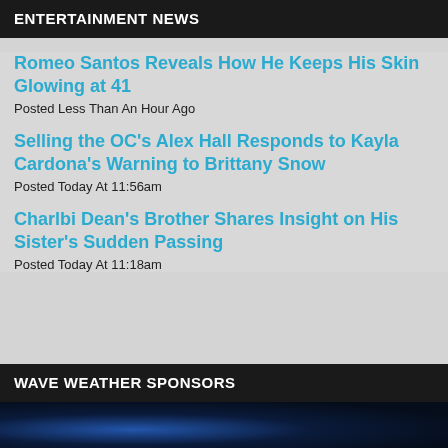ENTERTAINMENT NEWS
Romeo Santos Reveals How He Keeps His Skin Glowing at 41
Posted Less Than An Hour Ago
Selling the OC's Alex Hall Responds to Kayla Cardona's Warning to Brittany Snow
Posted Today At 11:56am
Charlbi Dean's Brother Shares Insight on His Sister's Sudden Passing
Posted Today At 11:18am
WAVE WEATHER SPONSORS
[Figure (photo): Dark background with blue lighting, partial image at bottom of page]